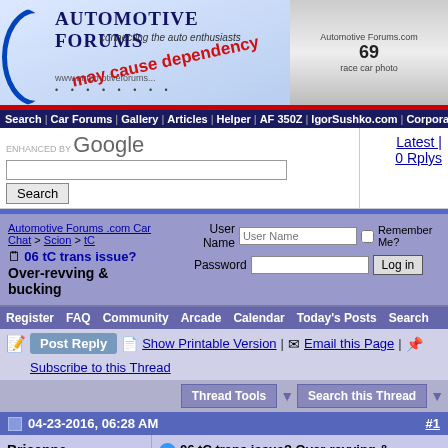[Figure (screenshot): Automotive Forums banner with car logo, blue ellipse, text 'Automotive Forums connecting the auto enthusiasts', 'may cause dependency' warning text overlay, URL www.automotiveforums.com, and a race car photo on the right]
Search | Car Forums | Gallery | Articles | Helper | AF 350Z | IgorSushko.com | Corporate
ENHANCED BY Google Search | Latest | 0 Rplys
Automotive Forums .com Car Chat > Scion > tC
06 tC trans issue? Over-revving & bucking
User Name | Password | Remember Me? | Log in
Register | FAQ | Community | Arcade | Calendar | Today's Posts | Search
Post Reply | Show Printable Version | Email this Page | Subscribe to this Thread
Thread Tools | Search this Thread
04-23-2016, 06:28 AM | #1
Brieanna
AF Newbie
Join Date: Apr 2016
Location: Allentown, Pennsylvania
Posts: 1
Thanks: 0
Thanked 0 Times in 0 Posts
06 tC trans issue? Over-revving & bucking

I have a 2006 Scion tC, automatic, and I'm having some issues with it. My car has about 101,400 miles on it. I've taken care of it since I got it. My commute is only 15 miles roundtrip (city), and I don't